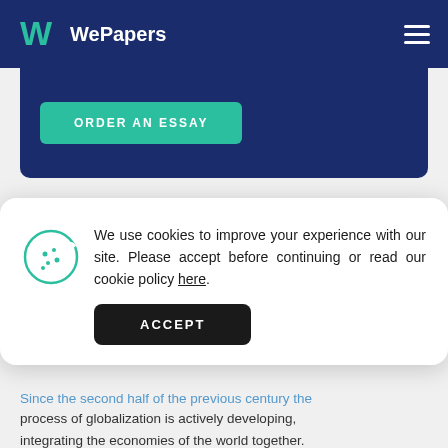WePapers
ORDER AN ESSAY
We use cookies to improve your experience with our site. Please accept before continuing or read our cookie policy here.
ACCEPT
Since the second half of the previous century the process of globalization is actively developing, integrating the economies of the world together. Being ready and willing to reach the international